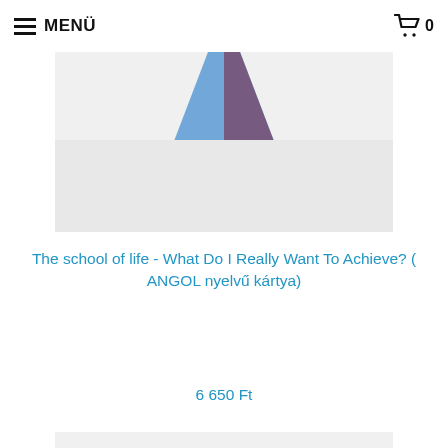MENÜ   🛒 0
[Figure (photo): Top portion of a product photo showing folded paper/origami card pieces with blue and dark red/maroon colors on a light gray background]
The school of life - What Do I Really Want To Achieve? ( ANGOL nyelvű kártya)
6 650 Ft
[Figure (photo): Green mint-colored card box labeled KINDNESS - CARDS FOR COMPASSION AND EMPATHY with floral/botanical illustration on a light gray background]